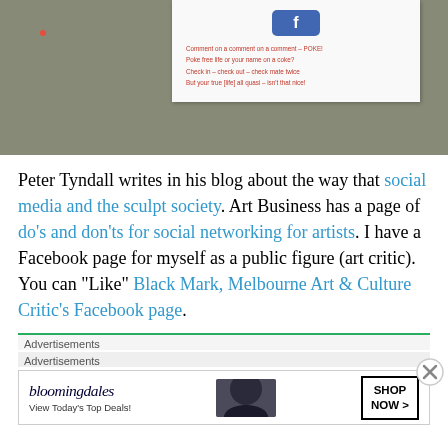[Figure (photo): A photograph of a white paper card pinned to a dark stone/concrete background. The card shows a Facebook-style blue button at top and lines of red text with social media humor: 'Comment on a comment on a comment – POKE!', 'Poke free life or your name on a coke?', 'Check in – check out – check mate twice', 'But your true [life] all quasi – isn't that nice!']
Peter Tyndall writes in his blog about the way that social media and the sculpt society. Art Business has a page of do's and don'ts for social networking for artists. I have a Facebook page for myself as a public figure (art critic). You can "Like" Black Mark, Melbourne Art & Culture Critic's Facebook page.
Advertisements
Advertisements
[Figure (screenshot): Bloomingdale's advertisement banner: logo text 'bloomingdales', tagline 'View Today's Top Deals!', image of woman in wide-brim hat, and 'SHOP NOW >' button]